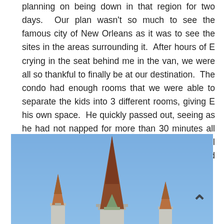planning on being down in that region for two days.  Our plan wasn't so much to see the famous city of New Orleans as it was to see the sites in the areas surrounding it.  After hours of E crying in the seat behind me in the van, we were all so thankful to finally be at our destination.  The condo had enough rooms that we were able to separate the kids into 3 different rooms, giving E his own space.  He quickly passed out, seeing as he had not napped for more than 30 minutes all day and had thoroughly worn himself out from all of that crying.   Peace.  It was just quiet and peaceful.
[Figure (photo): Photo of church steeples against a clear blue sky. A tall central dark-colored spire dominates the center, with smaller steeples visible on left and right sides. A caret (^) navigation arrow appears in the lower right of the image.]